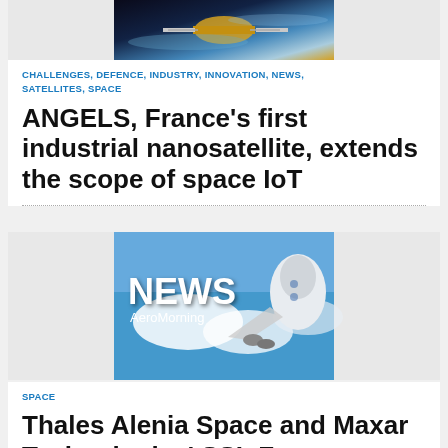[Figure (photo): Satellite in orbit with blue/gold coloring against dark space background]
CHALLENGES, DEFENCE, INDUSTRY, INNOVATION, NEWS, SATELLITES, SPACE
ANGELS, France's first industrial nanosatellite, extends the scope of space IoT
[Figure (photo): NEWS AeroMorning banner with airplane and clouds background]
SPACE
Thales Alenia Space and Maxar Technologies' SSL Form Consortium